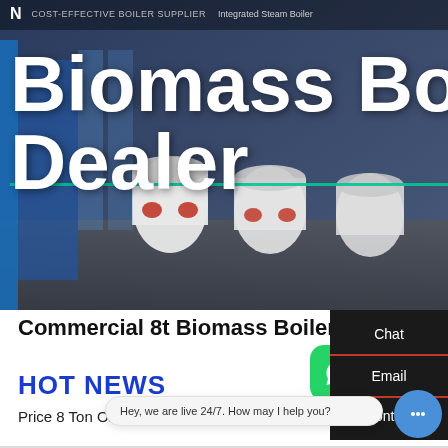COST-EFFECTIVE BOILER SUPPLIER | Integrated Steam Boiler
Biomass Boiler Dealer
[Figure (screenshot): Industrial biomass boilers in a facility, hero banner background image]
Commercial 8t Biomass Boiler Dealer
HOT NEWS
Price 8 Ton Oil Bo...
Hey, we are live 24/7. How may I help you?